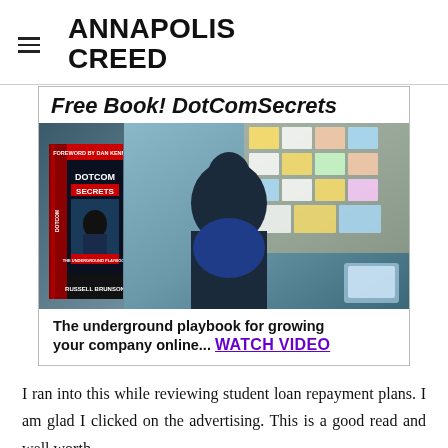ANNAPOLIS CREED
[Figure (photo): Advertisement banner for 'Free Book! DotComSecrets' by Russell Brunson, showing the book cover on the left and a person sitting in front of a bulletin board on the right. Bottom text reads: 'The underground playbook for growing your company online... WATCH VIDEO']
I ran into this while reviewing student loan repayment plans. I am glad I clicked on the advertising. This is a good read and well worth paying for the shipping costs. If you ever tried and